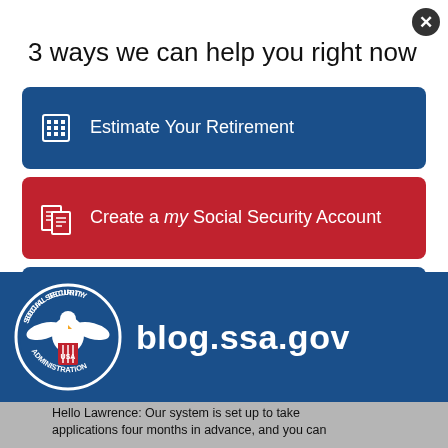3 ways we can help you right now
Estimate Your Retirement
Create a my Social Security Account
Sign up for Blog Updates
No Thanks    Remind Me Later
[Figure (logo): Social Security Administration USA seal logo]
blog.ssa.gov
Hello Lawrence: Our system is set up to take applications four months in advance, and you can